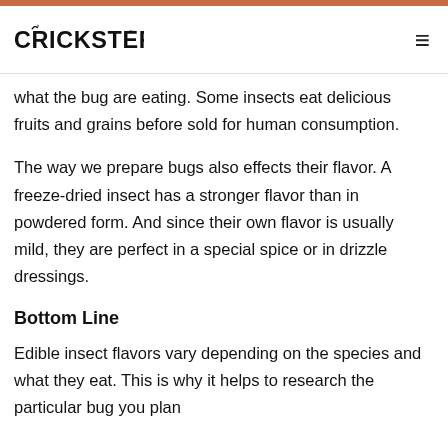CRICKSTER
what the bug are eating. Some insects eat delicious fruits and grains before sold for human consumption.
The way we prepare bugs also effects their flavor. A freeze-dried insect has a stronger flavor than in powdered form. And since their own flavor is usually mild, they are perfect in a special spice or in drizzle dressings.
Bottom Line
Edible insect flavors vary depending on the species and what they eat. This is why it helps to research the particular bug you plan